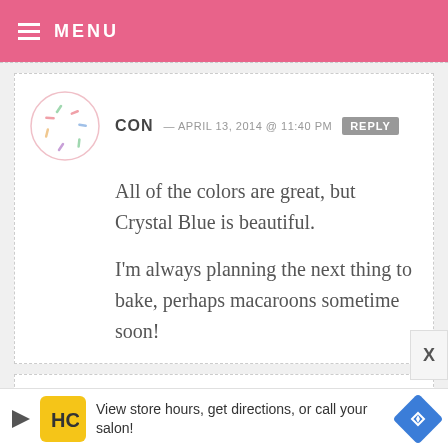MENU
CON — APRIL 13, 2014 @ 11:40 PM   REPLY
All of the colors are great, but Crystal Blue is beautiful.

I'm always planning the next thing to bake, perhaps macaroons sometime soon!
SHANNON — APRIL 13, 2014 @ 11:40 PM   REPLY
View store hours, get directions, or call your salon!